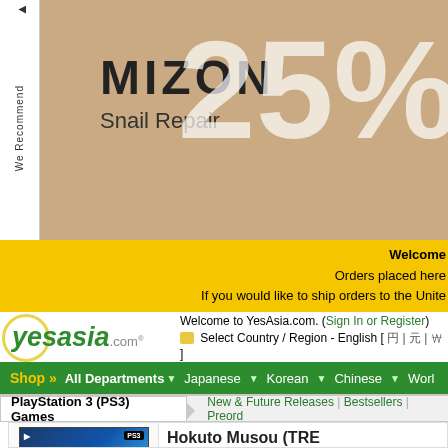[Figure (infographic): MIZON Snail Repair advertisement banner with '25%' text on tan/brown background, with 'We Recommend' sidebar tab]
Welcome
Orders placed here
If you would like to ship orders to the Unite
[Figure (logo): YesAsia.com logo with yellow oval and green italic text]
Welcome to YesAsia.com. (Sign In or Register)
Select Country / Region - English [ ... | ... | ... ]
Shop » All Departments ▼ Japanese ▼ Korean ▼ Chinese ▼ Worl
PlayStation 3 (PS3) Games | New & Future Releases | Bestsellers | Preord
[Figure (photo): Hokuto Musou PS3 game cover art with blue energy and warrior figure]
Hokuto Musou (TRE
KOEI

This product is out of print and

Related promotions:
This item is eligible for Free In

This item belongs to: